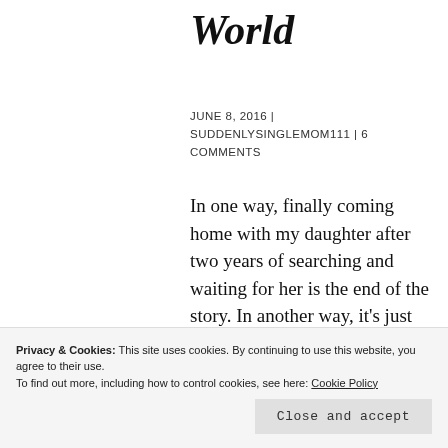World
JUNE 8, 2016 | SUDDENLYSINGLEMOM111 | 6 COMMENTS
In one way, finally coming home with my daughter after two years of searching and waiting for her is the end of the story. In another way, it's just the beginning. Angel found herself in a foreign land with her new family and I was in my own
arrival home, Angel was happy and
Privacy & Cookies: This site uses cookies. By continuing to use this website, you agree to their use. To find out more, including how to control cookies, see here: Cookie Policy
Close and accept